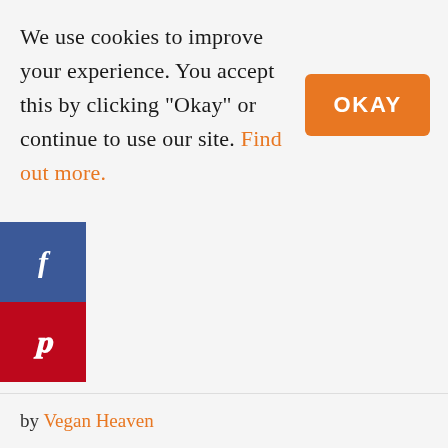We use cookies to improve your experience. You accept this by clicking "Okay" or continue to use our site. Find out more.
[Figure (other): Orange rounded button with white bold text reading OKAY]
[Figure (other): Social media sidebar with Facebook (blue, f icon) and Pinterest (red, p icon) buttons]
by Vegan Heaven